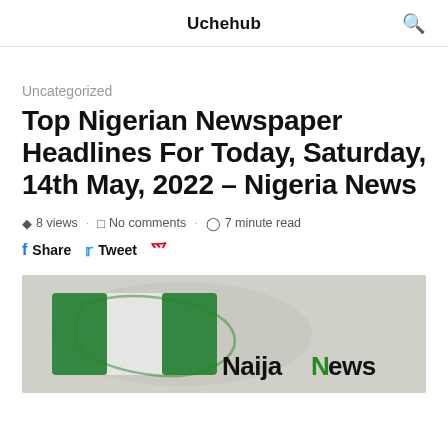Uchehub
Uncategorized
Top Nigerian Newspaper Headlines For Today, Saturday, 14th May, 2022 – Nigeria News
8 views · No comments · 7 minute read
Share Tweet
[Figure (photo): NaijaNews.com logo with Nigerian flag map in the background]